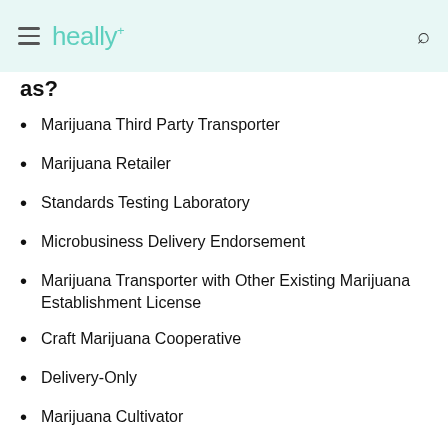heally
as?
Marijuana Third Party Transporter
Marijuana Retailer
Standards Testing Laboratory
Microbusiness Delivery Endorsement
Marijuana Transporter with Other Existing Marijuana Establishment License
Craft Marijuana Cooperative
Delivery-Only
Marijuana Cultivator
Marijuana Research Facility